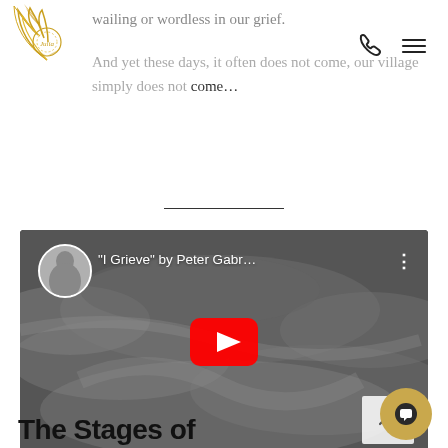[Figure (logo): Gold phoenix/bird logo with circular emblem, gold gradient feathers on white background]
wailing or wordless in our grief.
[Figure (other): Navigation icons: phone icon and hamburger menu icon]
And yet these days, it often does not come, our village simply does not come…
[Figure (screenshot): YouTube video thumbnail for 'I Grieve' by Peter Gabriel with red play button overlay on cloudy sky background]
Grieve" | Peter Gabriel
The Stages of